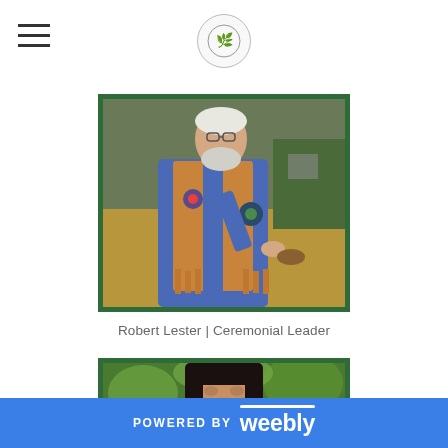[Figure (photo): An elderly man with white hair and beard wearing a blue long-sleeve shirt and tan/brown beaded fringed vest, holding an object, standing outdoors in a field.]
Robert Lester | Ceremonial Leader
[Figure (photo): A person with long dark hair visible from the shoulders up, outdoors with green foliage in the background.]
POWERED BY weebly